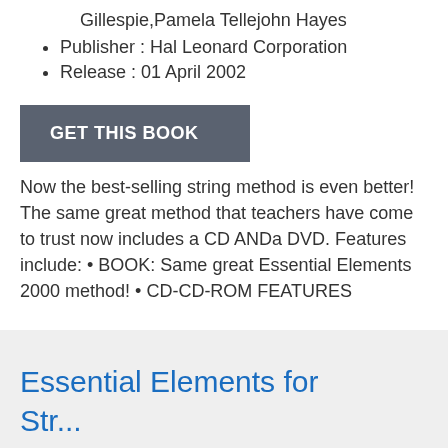Gillespie,Pamela Tellejohn Hayes
Publisher : Hal Leonard Corporation
Release : 01 April 2002
GET THIS BOOK
Now the best-selling string method is even better! The same great method that teachers have come to trust now includes a CD ANDa DVD. Features include: • BOOK: Same great Essential Elements 2000 method! • CD-CD-ROM FEATURES
Essential Elements for Str...